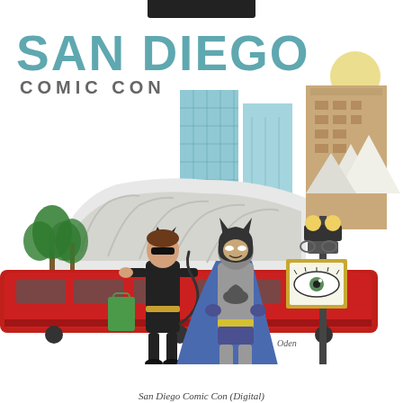[Figure (illustration): San Diego Comic Con illustrated poster featuring Batman and Catwoman standing in front of a red trolley/train, with San Diego cityscape buildings in the background including the convention center, palm trees on the left, and a decorative street lamp with an eye poster on the right. The text 'SAN DIEGO' appears in large teal letters at the top, and 'COMIC CON' in smaller grey letters below it. An artist signature appears near the bottom right of the illustration.]
San Diego Comic Con (Digital)